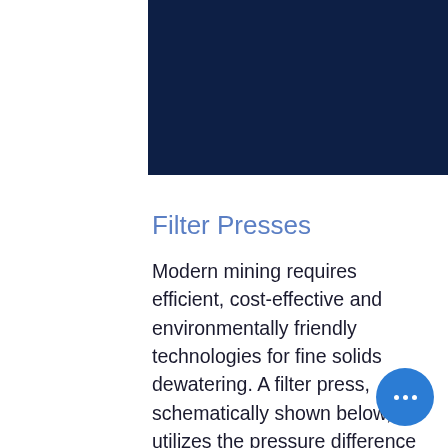[Figure (photo): Dark navy blue header image banner at the top right portion of the page]
Filter Presses
Modern mining requires efficient, cost-effective and environmentally friendly technologies for fine solids dewatering. A filter press, schematically shown below, utilizes the pressure difference provided by the feed pump and pressurized media to achieve solid-liquid separation and has been gaining popularity in the mining industry for both tailings as well as ore concentrate fines